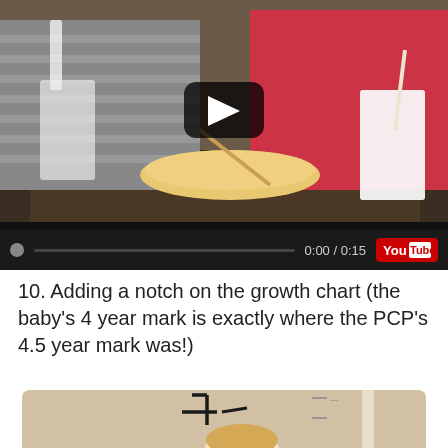[Figure (screenshot): YouTube video player showing two children eating at a restaurant table with bowls and drinks. Video controls show 0:00 / 0:15 time display and YouTube logo.]
10. Adding a notch on the growth chart (the baby's 4 year mark is exactly where the PCP's 4.5 year mark was!)
[Figure (photo): Photo showing a growth chart drawn on a wall with height marks, and a child's head visible at the bottom.]